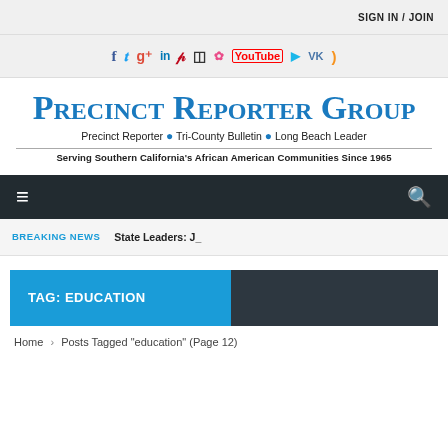SIGN IN / JOIN
[Figure (infographic): Social media icons row: Facebook, Twitter, Google+, LinkedIn, Pinterest, Instagram, Dribbble, YouTube, Vimeo, VK, RSS]
Precinct Reporter Group
Precinct Reporter • Tri-County Bulletin • Long Beach Leader
Serving Southern California's African American Communities Since 1965
[Figure (infographic): Navigation bar with hamburger menu icon on left and search icon on right, dark background]
BREAKING NEWS   State Leaders: J_
TAG: EDUCATION
Home › Posts Tagged "education" (Page 12)